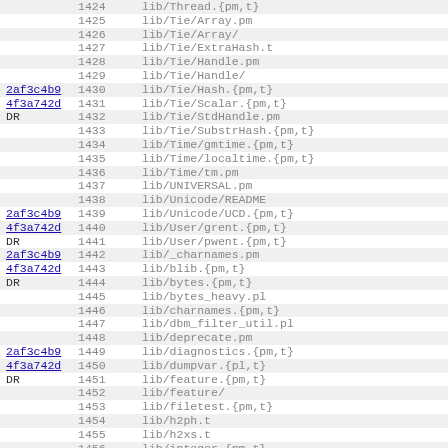| link | num | path |
| --- | --- | --- |
|  | 1424 | lib/Thread.{pm,t} |
|  | 1425 | lib/Tie/Array.pm |
|  | 1426 | lib/Tie/Array/ |
|  | 1427 | lib/Tie/ExtraHash.t |
|  | 1428 | lib/Tie/Handle.pm |
|  | 1429 | lib/Tie/Handle/ |
| 2af3c4b9 4f3a742d DR | 1430 1431 1432 | lib/Tie/Hash.{pm,t} lib/Tie/Scalar.{pm,t} lib/Tie/StdHandle.pm |
|  | 1433 | lib/Tie/SubstrHash.{pm,t} |
|  | 1434 | lib/Time/gmtime.{pm,t} |
|  | 1435 | lib/Time/localtime.{pm,t} |
|  | 1436 | lib/Time/tm.pm |
|  | 1437 | lib/UNIVERSAL.pm |
|  | 1438 | lib/Unicode/README |
| 2af3c4b9 4f3a742d DR | 1439 1440 1441 | lib/Unicode/UCD.{pm,t} lib/User/grent.{pm,t} lib/User/pwent.{pm,t} |
| 2af3c4b9 4f3a742d DR | 1442 1443 1444 | lib/_charnames.pm lib/blib.{pm,t} lib/bytes.{pm,t} |
|  | 1445 | lib/bytes_heavy.pl |
|  | 1446 | lib/charnames.{pm,t} |
|  | 1447 | lib/dbm_filter_util.pl |
|  | 1448 | lib/deprecate.pm |
| 2af3c4b9 4f3a742d DR | 1449 1450 1451 | lib/diagnostics.{pm,t} lib/dumpvar.{pl,t} lib/feature.{pm,t} |
|  | 1452 | lib/feature/ |
|  | 1453 | lib/filetest.{pm,t} |
|  | 1454 | lib/h2ph.t |
|  | 1455 | lib/h2xs.t |
|  | 1456 | lib/integer.{pm,t} |